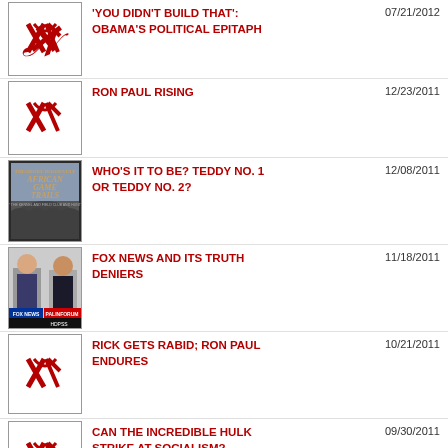'YOU DIDN'T BUILD THAT': OBAMA'S POLITICAL EPITAPH
RON PAUL RISING
WHO'S IT TO BE? TEDDY NO. 1 OR TEDDY NO. 2?
FOX NEWS AND ITS TRUTH DENIERS
RICK GETS RABID; RON PAUL ENDURES
CAN THE INCREDIBLE HULK STRIKE AT SOCIALISM?